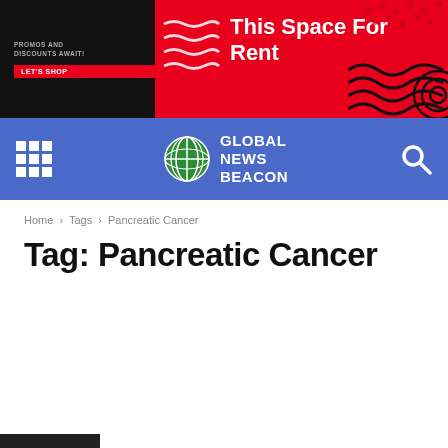[Figure (infographic): Advertisement banner: 'This Space For Rent' with red and black background, wavy lines and circular decorations, LET'S SHOP button]
[Figure (logo): Global News Beacon navigation bar with blue background, grid menu icon, globe logo, and search icon]
Home › Tags › Pancreatic Cancer
Tag: Pancreatic Cancer